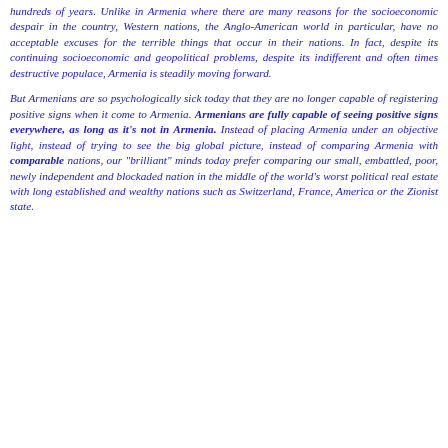hundreds of years. Unlike in Armenia where there are many reasons for the socioeconomic despair in the country, Western nations, the Anglo-American world in particular, have no acceptable excuses for the terrible things that occur in their nations. In fact, despite its continuing socioeconomic and geopolitical problems, despite its indifferent and often times destructive populace, Armenia is steadily moving forward.

But Armenians are so psychologically sick today that they are no longer capable of registering positive signs when it come to Armenia. Armenians are fully capable of seeing positive signs everywhere, as long as it's not in Armenia. Instead of placing Armenia under an objective light, instead of trying to see the big global picture, instead of comparing Armenia with comparable nations, our "brilliant" minds today prefer comparing our small, embattled, poor, newly independent and blockaded nation in the middle of the world's worst political real estate with long established and wealthy nations such as Switzerland, France, America or the Zionist state.